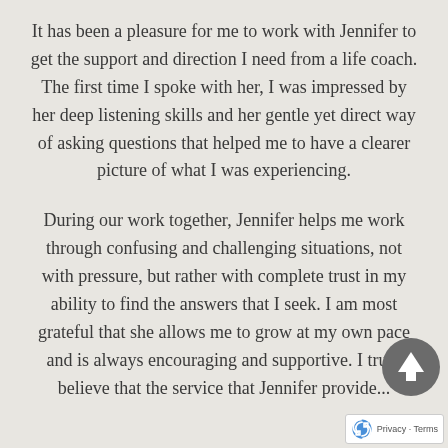It has been a pleasure for me to work with Jennifer to get the support and direction I need from a life coach. The first time I spoke with her, I was impressed by her deep listening skills and her gentle yet direct way of asking questions that helped me to have a clearer picture of what I was experiencing.
During our work together, Jennifer helps me work through confusing and challenging situations, not with pressure, but rather with complete trust in my ability to find the answers that I seek. I am most grateful that she allows me to grow at my own pace and is always encouraging and supportive. I truly believe that the service that Jennifer provide...